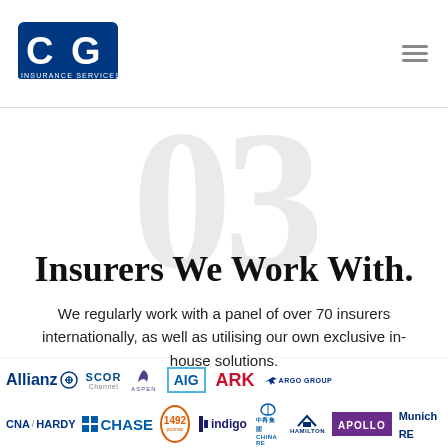[Figure (logo): CG Insurance Services logo — stylized blue CG letters with 'INSURANCE SERVICES' text below]
03
Insurers We Work With.
We regularly work with a panel of over 70 insurers internationally, as well as utilising our own exclusive in-house solutions.
[Figure (logo): Row of insurer logos: Allianz, SCOR Channel, Aspen, AIG, ARK, ARGO GROUP, CNA / HARDY, CHASE, 1492 Promas, indigo, China Re, Hamilton, Apollo, Munich RE]